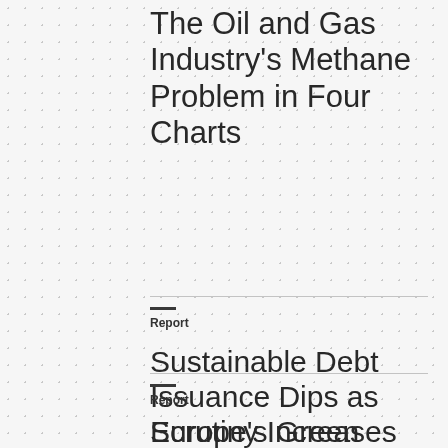The Oil and Gas Industry’s Methane Problem in Four Charts
Report
Sustainable Debt Issuance Dips as Scrutiny Increases
Report
Europe’s Green Hydrogen Rules Raise